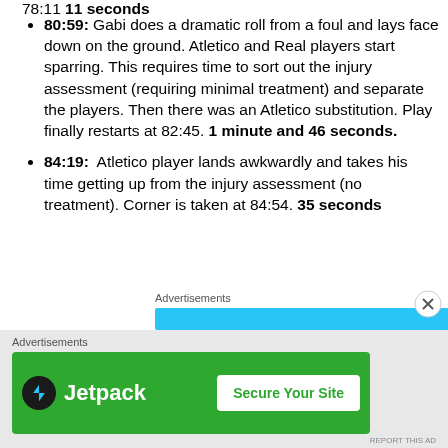78:11 11 seconds
80:59: Gabi does a dramatic roll from a foul and lays face down on the ground. Atletico and Real players start sparring. This requires time to sort out the injury assessment (requiring minimal treatment) and separate the players. Then there was an Atletico substitution. Play finally restarts at 82:45. 1 minute and 46 seconds.
84:19: Atletico player lands awkwardly and takes his time getting up from the injury assessment (no treatment). Corner is taken at 84:54. 35 seconds
[Figure (other): Advertisements label with blue bar below it, and a close button circle with X]
[Figure (other): Advertisements label with Jetpack green banner ad showing Jetpack logo and Secure Your Site button]